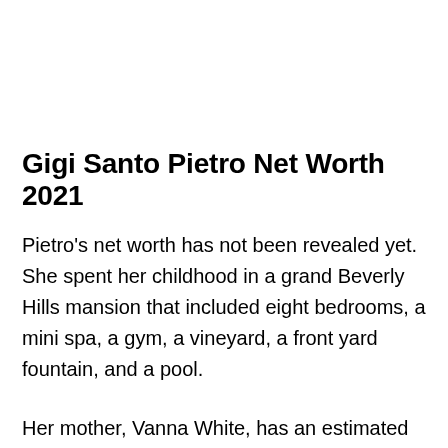Gigi Santo Pietro Net Worth 2021
Pietro's net worth has not been revealed yet. She spent her childhood in a grand Beverly Hills mansion that included eight bedrooms, a mini spa, a gym, a vineyard, a front yard fountain, and a pool.
Her mother, Vanna White, has an estimated net worth of $70 million. She has been the hostess of the popular game show called Wheel of Fortune since